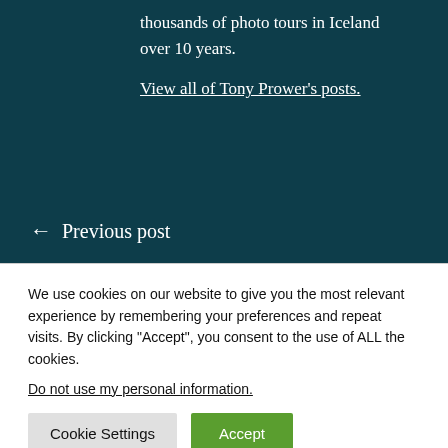thousands of photo tours in Iceland over 10 years.
View all of Tony Prower's posts.
← Previous post
August 2010 Landmannalaugar
We use cookies on our website to give you the most relevant experience by remembering your preferences and repeat visits. By clicking "Accept", you consent to the use of ALL the cookies.
Do not use my personal information.
Cookie Settings
Accept